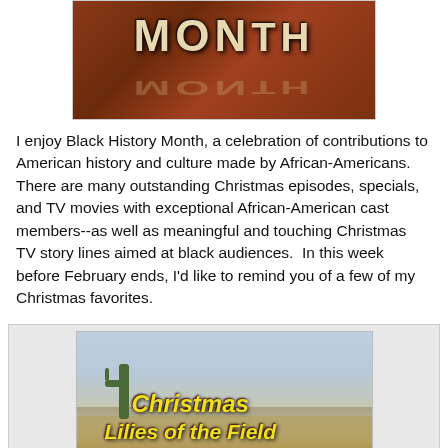[Figure (photo): 3D block letters spelling MONTH on a dark reddish-brown reflective surface, with a reflection below. Partial view — only 'MON' and part of 'TH' visible at top.]
I enjoy Black History Month, a celebration of contributions to American history and culture made by African-Americans. There are many outstanding Christmas episodes, specials, and TV movies with exceptional African-American cast members--as well as meaningful and touching Christmas TV story lines aimed at black audiences.  In this week before February ends, I'd like to remind you of a few of my Christmas favorites.
[Figure (photo): Movie or TV title card for 'Christmas Lilies of the Field' set against a desert landscape background with a cactus. The title text is in yellow italic font.]